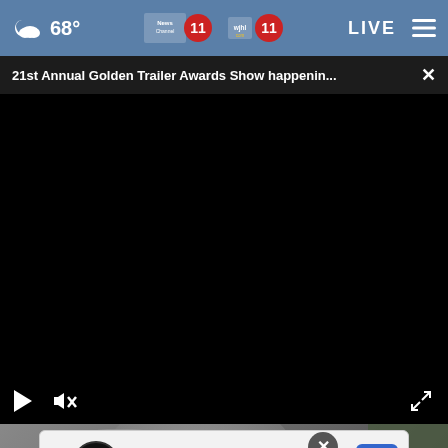68° News Channel 11 WJHL 11 LIVE
21st Annual Golden Trailer Awards Show happenin...
[Figure (screenshot): Video player showing a black/dark frame with playback controls: play button, mute button, and fullscreen expand icon. Part of a news live stream video player.]
[Figure (photo): Partial photo below the video player showing what appears to be a person's head/ear against a blurred background]
Ashburn   OPEN  |  7:30 AM–6PM   43781 Parkhurst Plaza, Ashburn